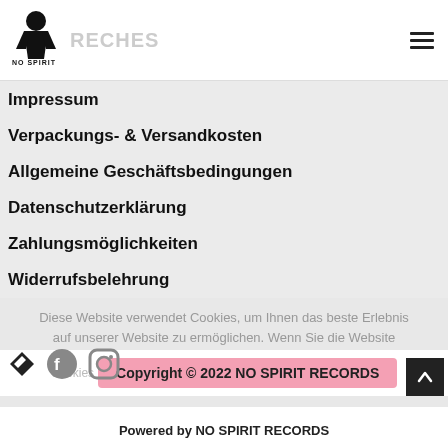[Figure (logo): No Spirit Records logo – stylized figure in black with 'NO SPIRIT' text below]
RECHES
Impressum
Verpackungs- & Versandkosten
Allgemeine Geschäftsbedingungen
Datenschutzerklärung
Zahlungsmöglichkeiten
Widerrufsbelehrung
Diese Website verwendet Cookies, um Ihnen das beste Erlebnis auf unserer Website zu ermöglichen. Wenn Sie die Website weiter nutzen, stimmen Sie der Verwendung von Cookies zu.  Erfahre mehr
[Figure (logo): Bandcamp icon (black rhombus with angled stripe)]
[Figure (logo): Facebook circle icon]
[Figure (logo): Instagram square-rounded icon]
Copyright © 2022 NO SPIRIT RECORDS
Powered by NO SPIRIT RECORDS